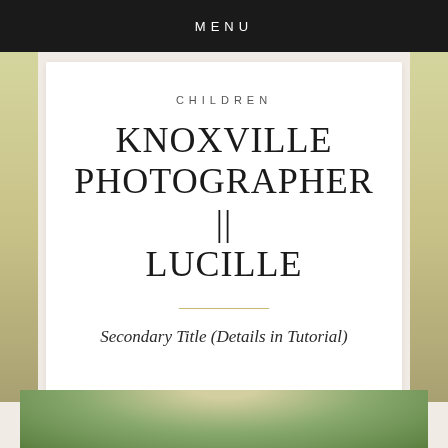MENU
CHILDREN
KNOXVILLE PHOTOGRAPHER || LUCILLE
Secondary Title (Details in Tutorial)
[Figure (photo): Bottom portion showing outdoor photo with green foliage background]